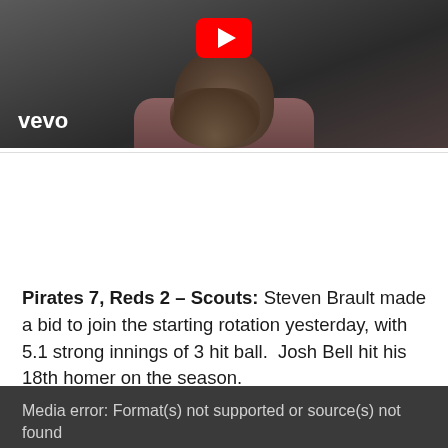[Figure (screenshot): YouTube video thumbnail showing a bearded man with a red YouTube play button overlay and vevo logo in the bottom left corner]
Pirates 7, Reds 2 – Scouts: Steven Brault made a bid to join the starting rotation yesterday, with 5.1 strong innings of 3 hit ball.  Josh Bell hit his 18th homer on the season.
Media error: Format(s) not supported or source(s) not found